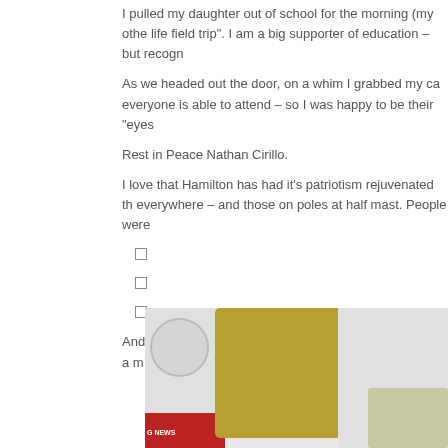I pulled my daughter out of school for the morning (my othe life field trip". I am a big supporter of education – but recogn
As we headed out the door, on a whim I grabbed my ca everyone is able to attend – so I was happy to be their “eyes
Rest in Peace Nathan Cirillo.
I love that Hamilton has had it’s patriotism rejuvenated th everywhere – and those on poles at half mast. People were
And then the processional began. The atmosphere was a m uniformed servants.
[Figure (photo): Outdoor photo showing a satellite news truck dish on the left, autumn trees with golden/orange foliage in the center, a white pole, and bare trees on the right against a grey sky.]